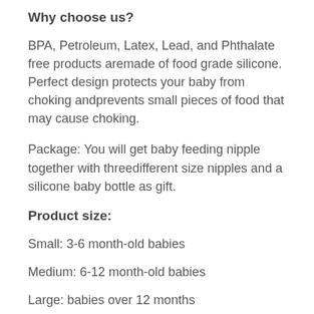Why choose us?
BPA, Petroleum, Latex, Lead, and Phthalate free products aremade of food grade silicone. Perfect design protects your baby from choking andprevents small pieces of food that may cause choking.
Package: You will get baby feeding nipple together with threedifferent size nipples and a silicone baby bottle as gift.
Product size:
Small: 3-6 month-old babies
Medium: 6-12 month-old babies
Large: babies over 12 months